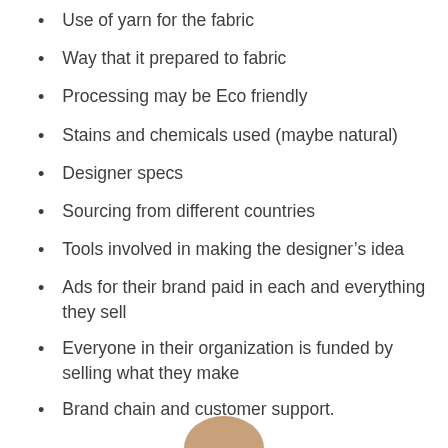Use of yarn for the fabric
Way that it prepared to fabric
Processing may be Eco friendly
Stains and chemicals used (maybe natural)
Designer specs
Sourcing from different countries
Tools involved in making the designer’s idea
Ads for their brand paid in each and everything they sell
Everyone in their organization is funded by selling what they make
Brand chain and customer support.
[Figure (photo): Partial photo of a person visible at the bottom of the page]